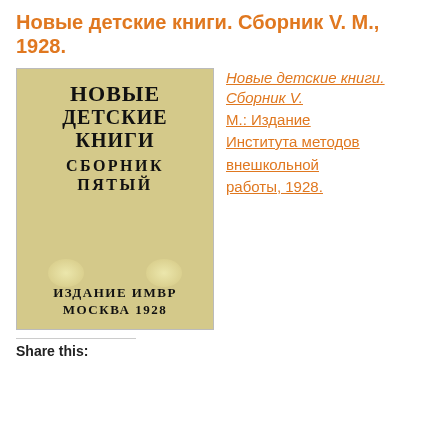Новые детские книги. Сборник V. М., 1928.
[Figure (photo): Book cover of 'Новые детские книги. Сборник пятый' published by ИМВР, Москва 1928. Aged yellowish cover with bold black Cyrillic text.]
Новые детские книги. Сборник V. М.: Издание Института методов внешкольной работы, 1928.
Share this: